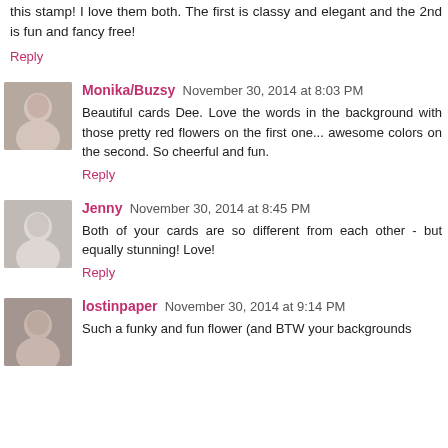this stamp! I love them both. The first is classy and elegant and the 2nd is fun and fancy free!
Reply
[Figure (photo): Avatar photo of Monika/Buzsy, a woman smiling]
Monika/Buzsy  November 30, 2014 at 8:03 PM
Beautiful cards Dee. Love the words in the background with those pretty red flowers on the first one... awesome colors on the second. So cheerful and fun.
Reply
[Figure (photo): Avatar photo of Jenny, a woman smiling]
Jenny  November 30, 2014 at 8:45 PM
Both of your cards are so different from each other - but equally stunning! Love!
Reply
[Figure (photo): Avatar photo of lostinpaper, a woman]
lostinpaper  November 30, 2014 at 9:14 PM
Such a funky and fun flower (and BTW your backgrounds